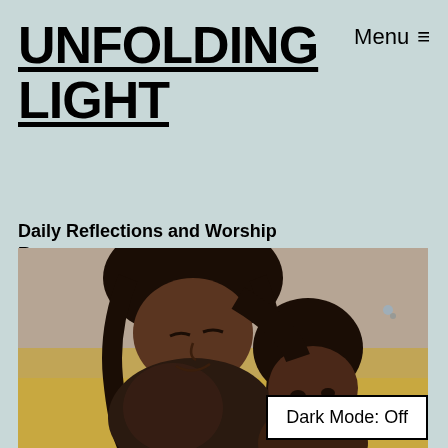UNFOLDING LIGHT
Menu ≡
Daily Reflections and Worship Resources
[Figure (illustration): A painting showing two women with dark hair, one adult leaning over a child, rendered in warm earth tones with a muted background]
Dark Mode: Off